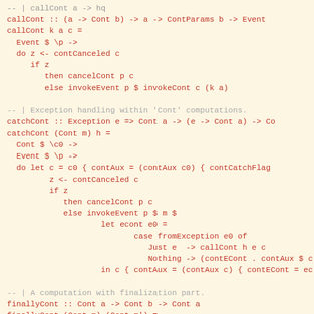callCont :: (a -> Cont b) -> a -> ContParams b -> Event ...
callCont k a c =
  Event $ \p ->
  do z <- contCanceled c
     if z
        then cancelCont p c
        else invokeEvent p $ invokeCont c (k a)
-- | Exception handling within 'Cont' computations.
catchCont :: Exception e => Cont a -> (e -> Cont a) -> Co...
catchCont (Cont m) h =
  Cont $ \c0 ->
  Event $ \p ->
  do let c = c0 { contAux = (contAux c0) { contCatchFlag...
         z <- contCanceled c
         if z
            then cancelCont p c
            else invokeEvent p $ m $
                    let econt e0 =
                           case fromException e0 of
                              Just e  -> callCont h e c
                              Nothing -> (contECont . contAux $ c)
                    in c { contAux = (contAux c) { contECont = ec...
-- | A computation with finalization part.
finallyCont :: Cont a -> Cont b -> Cont a
finallyCont (Cont m) (Cont m') =
  Cont $ \c0 ->
  Event $ \p ->
  do let c = c0 { contAux = (contAux c0) { contCatchFla...